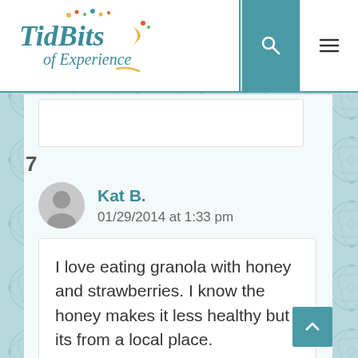[Figure (logo): TidBits of Experience website logo - stylized text with colorful dots]
Kat B.
01/29/2014 at 1:33 pm
I love eating granola with honey and strawberries. I know the honey makes it less healthy but its from a local place.
Reply